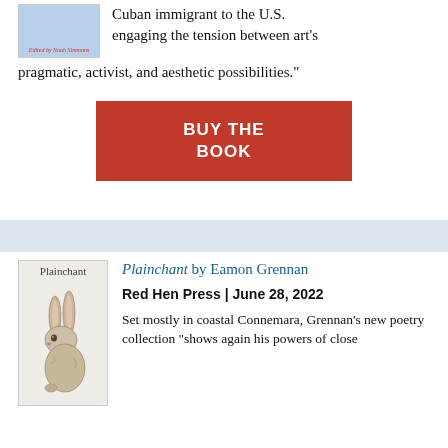[Figure (illustration): Book cover thumbnail with blue background and small red italic text at bottom]
Cuban immigrant to the U.S. engaging the tension between art's pragmatic, activist, and aesthetic possibilities."
[Figure (other): Red button reading BUY THE BOOK in white bold uppercase letters]
[Figure (illustration): Book cover for Plainchant showing title text at top and a detailed pencil/watercolor drawing of a hare]
Plainchant by Eamon Grennan
Red Hen Press | June 28, 2022
Set mostly in coastal Connemara, Grennan's new poetry collection "shows again his powers of close